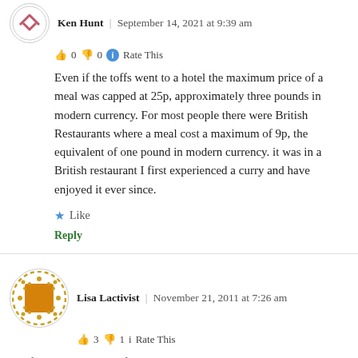Ken Hunt | September 14, 2021 at 9:39 am
👍 0 👎 0 ℹ Rate This
Even if the toffs went to a hotel the maximum price of a meal was capped at 25p, approximately three pounds in modern currency. For most people there were British Restaurants where a meal cost a maximum of 9p, the equivalent of one pound in modern currency. it was in a British restaurant I first experienced a curry and have enjoyed it ever since.
★ Like
Reply
Lisa Lactivist | November 21, 2011 at 7:26 am
👍 3 👎 1 ℹ Rate This
oh fab, thanks Dave, I found it, it's called 'The West End Front'